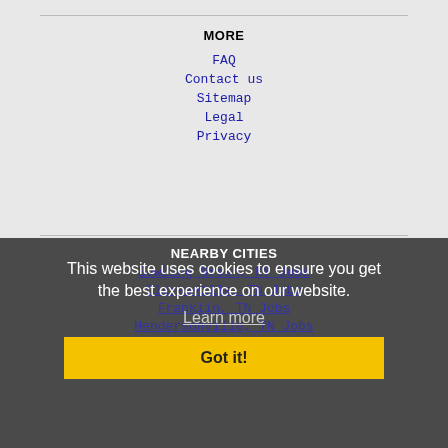MORE
FAQ
Contact us
Sitemap
Legal
Privacy
NEARBY CITIES
Bowling Green, KY Jobs
Clarksville, TN Jobs
Franklin, TN Jobs
Hendersonville, TN Jobs
Murfreesboro, TN Jobs
Smyrna, TN Jobs
This website uses cookies to ensure you get the best experience on our website. Learn more
Got it!